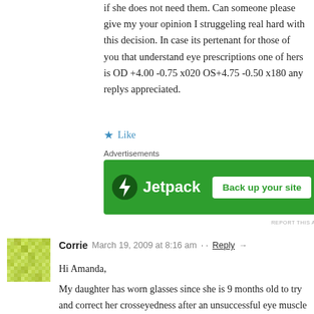if she does not need them. Can someone please give my your opinion I struggeling real hard with this decision. In case its pertenant for those of you that understand eye prescriptions one of hers is OD +4.00 -0.75 x020 OS+4.75 -0.50 x180 any replys appreciated.
★ Like
[Figure (other): Jetpack advertisement banner with green background showing Jetpack logo and 'Back up your site' button]
Corrie  March 19, 2009 at 8:16 am  Reply
Hi Amanda,

My daughter has worn glasses since she is 9 months old to try and correct her crosseyedness after an unsuccessful eye muscle surgery. Since then, I have done a lot of research, but only recently figured out how they determine what kind of prescription she needs for her glasses since she is only 2 1/2 now. First of all, it is very hard to notice that a young child has a vision problem and it often goes diagnosed